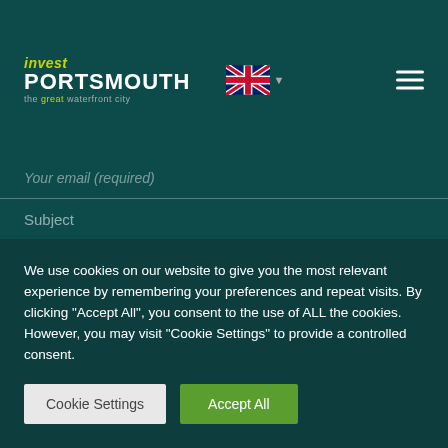[Figure (logo): Invest Portsmouth logo with tagline 'the great waterfront city', UK flag selector, and hamburger menu icon]
Your email (required)
Subject
Your message
We use cookies on our website to give you the most relevant experience by remembering your preferences and repeat visits. By clicking "Accept All", you consent to the use of ALL the cookies. However, you may visit "Cookie Settings" to provide a controlled consent.
Cookie Settings
Accept All